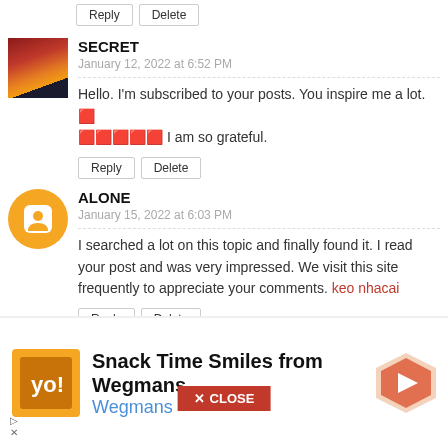[Figure (screenshot): Blog comment section showing two user comments and an advertisement banner]
Reply | Delete (top button group)
SECRET
January 12, 2022 at 6:52 PM
Hello. I'm subscribed to your posts. You inspire me a lot. 🟥 🟥🟥🟥🟥 I am so grateful.
Reply | Delete
ALONE
January 15, 2022 at 6:03 PM
I searched a lot on this topic and finally found it. I read your post and was very impressed. We visit this site frequently to appreciate your comments. keo nhacai
Reply | Delete
[Figure (screenshot): CLOSE button overlay in red]
[Figure (infographic): Wegmans advertisement banner: Snack Time Smiles from Wegmans with Wegmans logo and arrow icon]